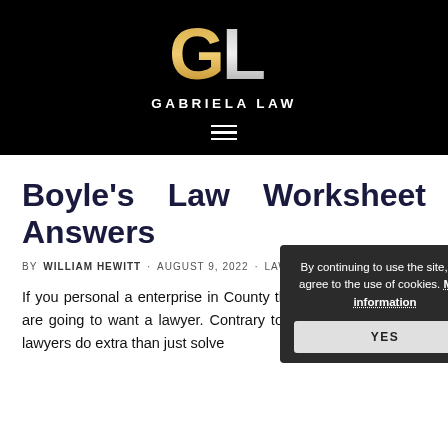[Figure (logo): Gabriela Law logo with stylized GL monogram in gold and silver on black background, with text GABRIELA LAW below]
Boyle's Law Worksheet Answers
BY WILLIAM HEWITT · AUGUST 9, 2022 · LAW
If you personal a enterprise in County then at some point you are going to want a lawyer. Contrary to well-liked perception, lawyers do extra than just solve